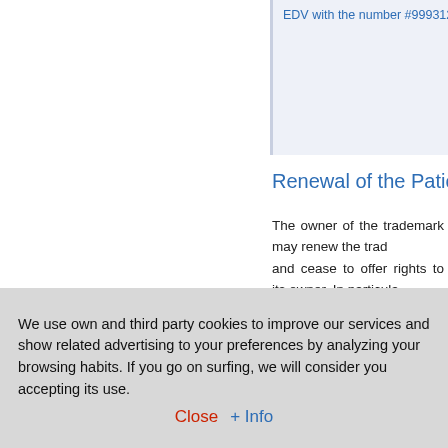EDV with the number #9993123 was requested in...
Renewal of the Patio Zen with the num...
The owner of the trademark may renew the trad... and cease to offer rights to its owner. In particula... addition, anyone may register the trademark and...
Other marks requested in the classes...
We use own and third party cookies to improve our services and show related advertising to your preferences by analyzing your browsing habits. If you go on surfing, we will consider you accepting its use.
Close  + Info